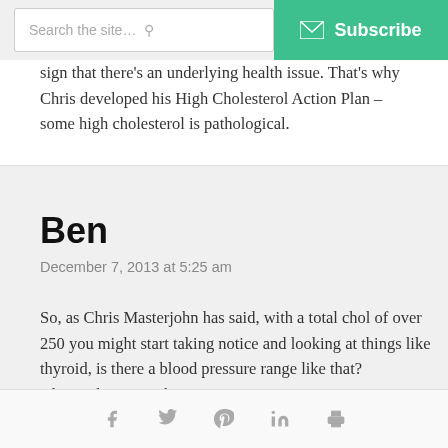Search the site...   Subscribe
sign that there's an underlying health issue. That's why Chris developed his High Cholesterol Action Plan – some high cholesterol is pathological.
Ben
December 7, 2013 at 5:25 am
So, as Chris Masterjohn has said, with a total chol of over 250 you might start taking notice and looking at things like thyroid, is there a blood pressure range like that? Obviously 250 is above
Social share icons: Facebook, Twitter, Pinterest, LinkedIn, Print